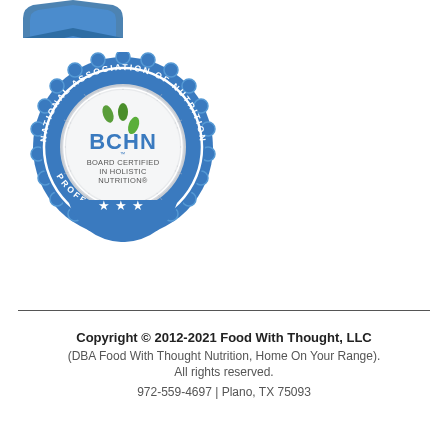[Figure (logo): Partial blue logo/badge at top left corner, partially cropped]
[Figure (logo): BCHN Board Certified in Holistic Nutrition seal from National Association of Nutrition Professionals. Blue circular badge with scalloped edge, inner circle with radiating lines, three green leaf icons, text BCHN in bold, Board Certified in Holistic Nutrition, three white stars at bottom.]
Copyright © 2012-2021 Food With Thought, LLC (DBA Food With Thought Nutrition, Home On Your Range). All rights reserved. 972-559-4697 | Plano, TX 75093